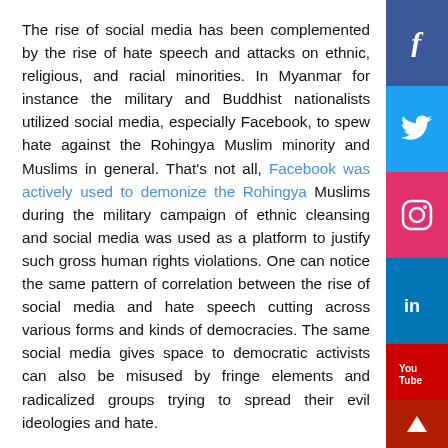The rise of social media has been complemented by the rise of hate speech and attacks on ethnic, religious, and racial minorities. In Myanmar for instance the military and Buddhist nationalists utilized social media, especially Facebook, to spew hate against the Rohingya Muslim minority and Muslims in general. That's not all, Facebook was actively used to demonize the Rohingya Muslims during the military campaign of ethnic cleansing and social media was used as a platform to justify such gross human rights violations. One can notice the same pattern of correlation between the rise of social media and hate speech cutting across various forms and kinds of democracies. The same social media gives space to democratic activists can also be misused by fringe elements and radicalized groups trying to spread their evil ideologies and hate.